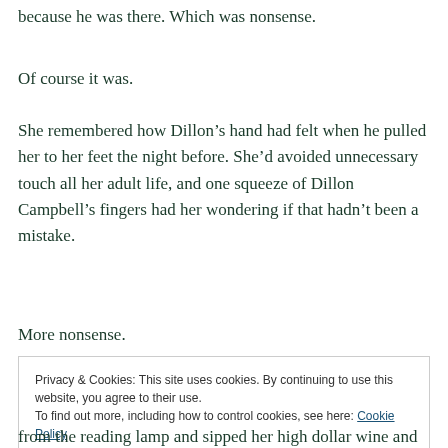because he was there. Which was nonsense.
Of course it was.
She remembered how Dillon’s hand had felt when he pulled her to her feet the night before. She’d avoided unnecessary touch all her adult life, and one squeeze of Dillon Campbell’s fingers had her wondering if that hadn’t been a mistake.
More nonsense.
Privacy & Cookies: This site uses cookies. By continuing to use this website, you agree to their use.
To find out more, including how to control cookies, see here: Cookie Policy
Close and accept
from the reading lamp and sipped her high dollar wine and